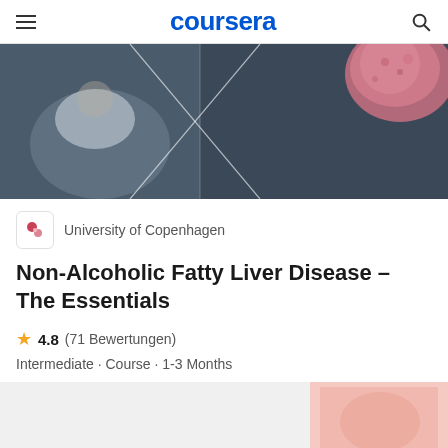coursera
[Figure (photo): Hero image showing a person resting with a medical/anatomical diagram background with pink tissue microscopy image in top right]
University of Copenhagen
Non-Alcoholic Fatty Liver Disease – The Essentials
4.8 (71 Bewertungen)
Intermediate · Course · 1-3 Months
[Figure (photo): Partially visible course thumbnail at bottom of page]